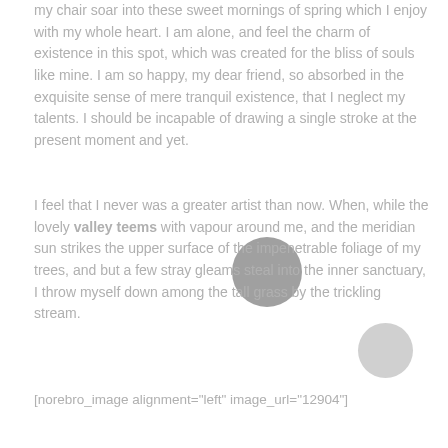my chair soar into these sweet mornings of spring which I enjoy with my whole heart. I am alone, and feel the charm of existence in this spot, which was created for the bliss of souls like mine. I am so happy, my dear friend, so absorbed in the exquisite sense of mere tranquil existence, that I neglect my talents. I should be incapable of drawing a single stroke at the present moment and yet.
I feel that I never was a greater artist than now. When, while the lovely valley teems with vapour around me, and the meridian sun strikes the upper surface of the impenetrable foliage of my trees, and but a few stray gleams steal into the inner sanctuary, I throw myself down among the tall grass by the trickling stream.
[norebro_image alignment="left" image_url="12904"]